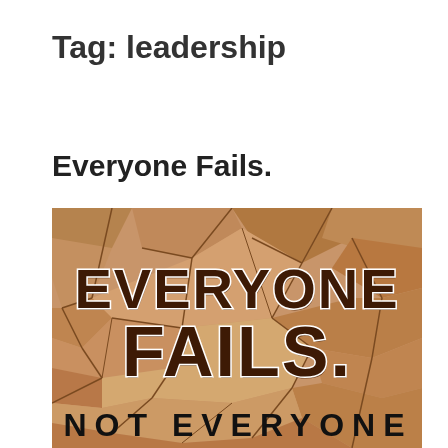Tag: leadership
Everyone Fails.
[Figure (illustration): Motivational poster image on a cracked dry earth background with dark brown bold text reading 'EVERYONE FAILS.' and partially visible text at bottom reading 'NOT EVERYONE']